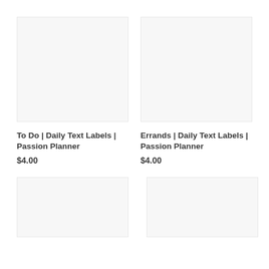[Figure (photo): Product image placeholder - light gray background]
[Figure (photo): Product image placeholder - light gray background]
To Do | Daily Text Labels | Passion Planner
$4.00
Errands | Daily Text Labels | Passion Planner
$4.00
[Figure (photo): Product image placeholder - light gray background]
[Figure (photo): Product image placeholder - light gray background]